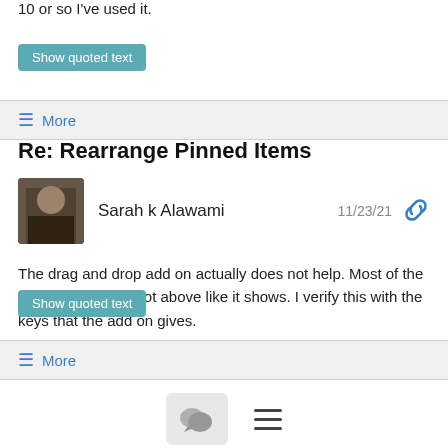10 or so I've used it.
Show quoted text
≡ More
Re: Rearrange Pinned Items
Sarah k Alawami  11/23/21
The drag and drop add on actually does not help. Most of the time my curser is not above like it shows. I verify this with the keys that the add on gives.
Show quoted text
≡ More
Re: accessible way of moving playlists to folders in